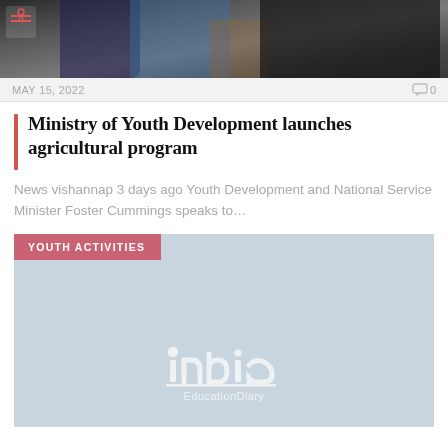[Figure (photo): Top portion of a photo showing people, partially cropped, with a logo mark in the upper left corner]
MAY 15, 2022    🗨0
Ministry of Youth Development launches agricultural program
News vishannap 3 days ago Youth Development and National Service Minister Foster Cummings speaks to…
[Figure (other): Youth Activities section block with light blue-grey background, a salmon/rose colored label reading YOUTH ACTIVITIES, and an India EducationDiary watermark logo at the bottom center]